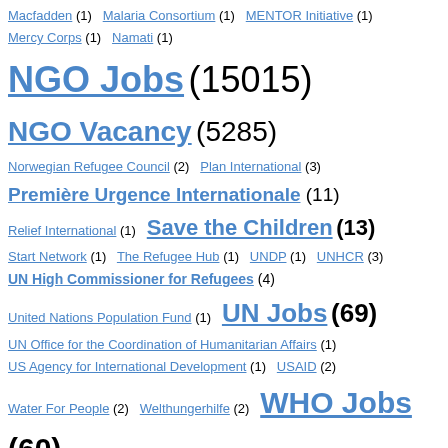Macfadden (1)  Malaria Consortium (1)  MENTOR Initiative (1)
Mercy Corps (1)  Namati (1)
NGO Jobs (15015)
NGO Vacancy (5285)
Norwegian Refugee Council (2)  Plan International (3)
Première Urgence Internationale (11)
Relief International (1)  Save the Children (13)
Start Network (1)  The Refugee Hub (1)  UNDP (1)  UNHCR (3)
UN High Commissioner for Refugees (4)
United Nations Population Fund (1)  UN Jobs (69)
UN Office for the Coordination of Humanitarian Affairs (1)
US Agency for International Development (1)  USAID (2)
Water For People (2)  Welthungerhilfe (2)  WHO Jobs (60)
World Vision (2)